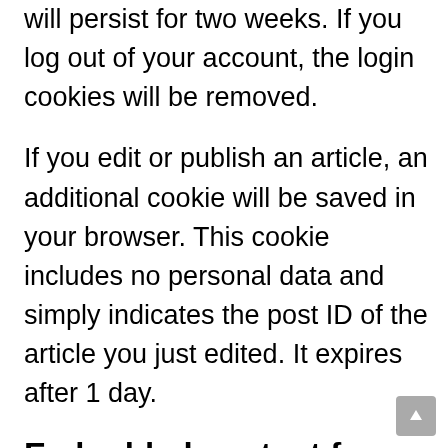will persist for two weeks. If you log out of your account, the login cookies will be removed.
If you edit or publish an article, an additional cookie will be saved in your browser. This cookie includes no personal data and simply indicates the post ID of the article you just edited. It expires after 1 day.
Embedded content from other websites